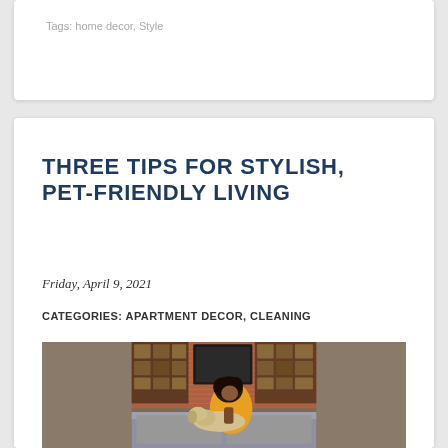Tags: home decor, Style
THREE TIPS FOR STYLISH, PET-FRIENDLY LIVING
Friday, April 9, 2021
CATEGORIES: APARTMENT DECOR, CLEANING
[Figure (photo): A person with curly hair wearing a yellow top bending over a light-colored dog on a grey couch, with a brick wall and wooden shelving unit in the background]